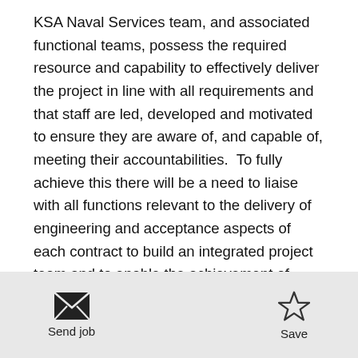KSA Naval Services team, and associated functional teams, possess the required resource and capability to effectively deliver the project in line with all requirements and that staff are led, developed and motivated to ensure they are aware of, and capable of, meeting their accountabilities.  To fully achieve this there will be a need to liaise with all functions relevant to the delivery of engineering and acceptance aspects of each contract to build an integrated project team and to enable the achievement of project objectives
The role requires the application of Engineering
Send job | Save